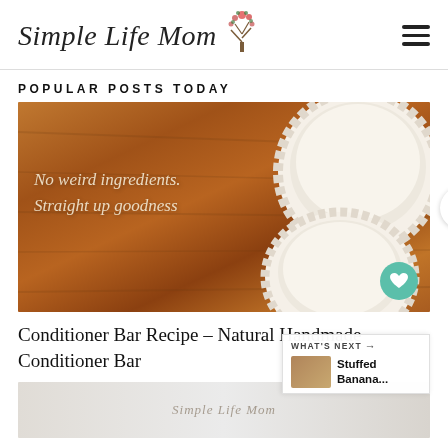Simple Life Mom
POPULAR POSTS TODAY
[Figure (photo): Photo of conditioner bars in white cupcake liners on a wooden surface with text overlay reading 'No weird ingredients. Straight up goodness']
Conditioner Bar Recipe – Natural Handmade Conditioner Bar
[Figure (photo): Partial view of a second post image with Simple Life Mom watermark]